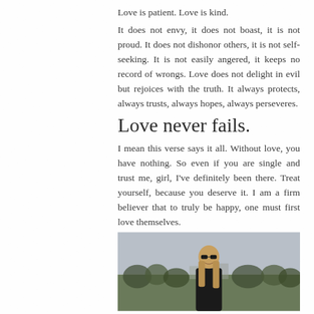Love is patient. Love is kind.
It does not envy, it does not boast, it is not proud. It does not dishonor others, it is not self-seeking. It is not easily angered, it keeps no record of wrongs. Love does not delight in evil but rejoices with the truth. It always protects, always trusts, always hopes, always perseveres.
Love never fails.
I mean this verse says it all. Without love, you have nothing. So even if you are single and trust me, girl, I've definitely been there. Treat yourself, because you deserve it. I am a firm believer that to truly be happy, one must first love themselves.
[Figure (photo): A woman with long blond hair wearing a black outfit and sunglasses, standing outdoors near a waterfront with trees and buildings in the background, overcast sky.]